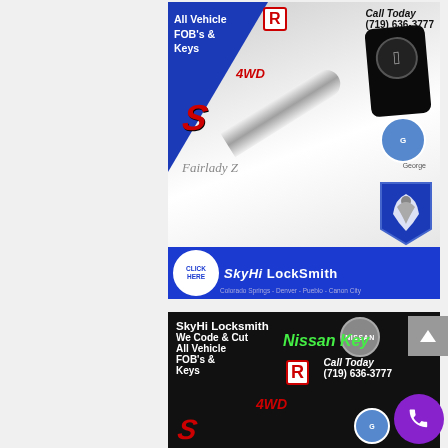[Figure (advertisement): SkyHi Locksmith ad showing a Nissan key fob and blade with text 'All Vehicle FOB's & Keys', 'Call Today (719) 636-3777', GT-R and 4WD badges, lightning bolt S badge, Fairlady Z script, a photo of George, an eagle shield logo, a blue bottom banner with 'CLICK HERE' button, 'SkyHi LockSmith' text, and 'Colorado Springs - Denver - Pueblo - Canon City']
[Figure (advertisement): SkyHi Locksmith second ad with dark background showing 'SkyHi Locksmith', 'We Code & Cut All Vehicle FOB's & Keys', 'Nissan Key' in green italic, 'Call Today (719) 636-3777', GT-R badge, 4WD badge, Nissan logo, purple phone button, and scroll-up button]